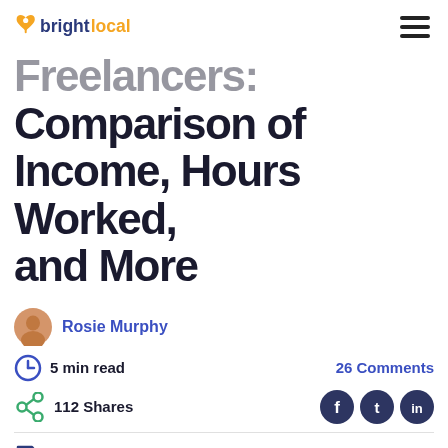BrightLocal
Freelancers: Comparison of Income, Hours Worked, and More
Rosie Murphy
5 min read
26 Comments
112 Shares
Local SEO, Agency Focus